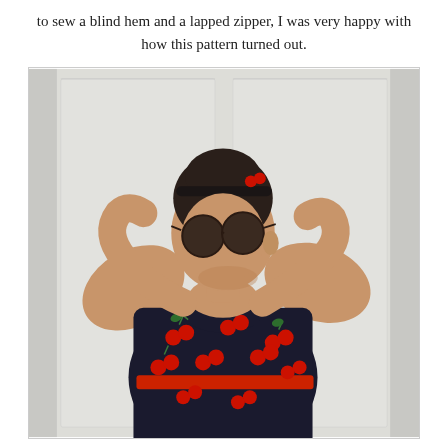to sew a blind hem and a lapped zipper, I was very happy with how this pattern turned out.
[Figure (photo): A woman wearing a black dress with red cherry print and a red belt, with dark round sunglasses and a black headband with small red accents, posing with hands behind her head in front of white paneled doors.]